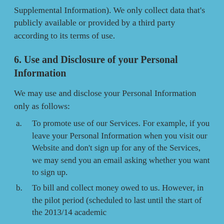Supplemental Information). We only collect data that's publicly available or provided by a third party according to its terms of use.
6. Use and Disclosure of your Personal Information
We may use and disclose your Personal Information only as follows:
a. To promote use of our Services. For example, if you leave your Personal Information when you visit our Website and don't sign up for any of the Services, we may send you an email asking whether you want to sign up.
b. To bill and collect money owed to us. However, in the pilot period (scheduled to last until the start of the 2013/14 academic...